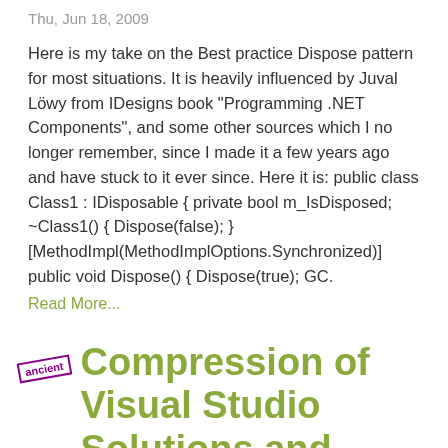Thu, Jun 18, 2009
Here is my take on the Best practice Dispose pattern for most situations. It is heavily influenced by Juval Löwy from IDesigns book “Programming .NET Components”, and some other sources which I no longer remember, since I made it a few years ago and have stuck to it ever since. Here it is: public class Class1 : IDisposable { private bool m_IsDisposed; ~Class1() { Dispose(false); } [MethodImpl(MethodImplOptions.Synchronized)] public void Dispose() { Dispose(true); GC.
Read More...
Compression of Visual Studio Solutions and Projects made easy